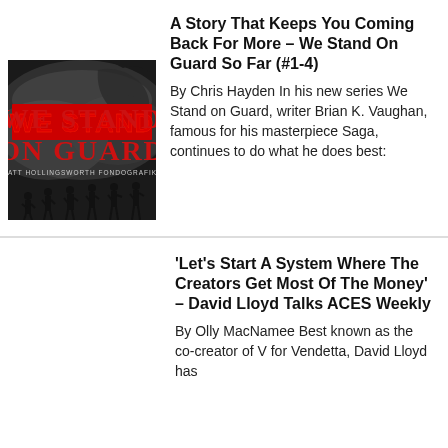[Figure (photo): Book cover for 'We Stand On Guard' by Matt Hollingsworth and Fondografiks. Red block letters on a dark smoky background with silhouettes of armed soldiers walking.]
A Story That Keeps You Coming Back For More – We Stand On Guard So Far (#1-4)
By Chris Hayden In his new series We Stand on Guard, writer Brian K. Vaughan, famous for his masterpiece Saga, continues to do what he does best:
'Let's Start A System Where The Creators Get Most Of The Money' – David Lloyd Talks ACES Weekly
By Olly MacNamee Best known as the co-creator of V for Vendetta, David Lloyd has